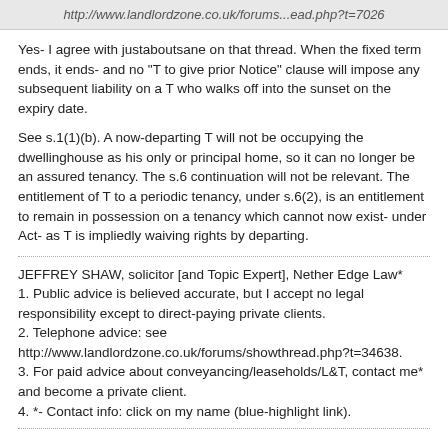http://www.landlordzone.co.uk/forums...ead.php?t=7026
Yes- I agree with justaboutsane on that thread. When the fixed term ends, it ends- and no "T to give prior Notice" clause will impose any subsequent liability on a T who walks off into the sunset on the expiry date.
See s.1(1)(b). A now-departing T will not be occupying the dwellinghouse as his only or principal home, so it can no longer be an assured tenancy. The s.6 continuation will not be relevant. The entitlement of T to a periodic tenancy, under s.6(2), is an entitlement to remain in possession on a tenancy which cannot now exist- under Act- as T is impliedly waiving rights by departing.
JEFFREY SHAW, solicitor [and Topic Expert], Nether Edge Law*
1. Public advice is believed accurate, but I accept no legal responsibility except to direct-paying private clients.
2. Telephone advice: see http://www.landlordzone.co.uk/forums/showthread.php?t=34638.
3. For paid advice about conveyancing/leaseholds/L&T, contact me* and become a private client.
4. *- Contact info: click on my name (blue-highlight link).